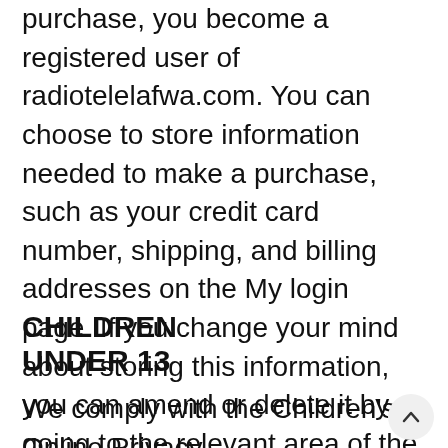purchase, you become a registered user of radiotelelafwa.com. You can choose to store information needed to make a purchase, such as your credit card number, shipping, and billing addresses on the My login page. If you change your mind about storing this information, you can amend or delete it by going to the relevant area of the My login page and following the instructions. You can access this section using your registration password.
CHILDREN UNDER 13
We comply with the Children's Online Privacy